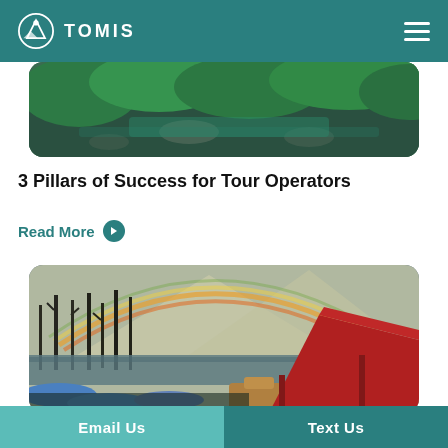TOMIS
[Figure (photo): Aerial or top-down view of a forested river area with green trees and rocky terrain, partially visible at top of page]
3 Pillars of Success for Tour Operators
Read More
[Figure (photo): Outdoor river rafting scene with a rainbow over mountains, tall dead trees, blue kayaks/rafts in foreground, and red canopy/tent structure on the right side]
Email Us   Text Us